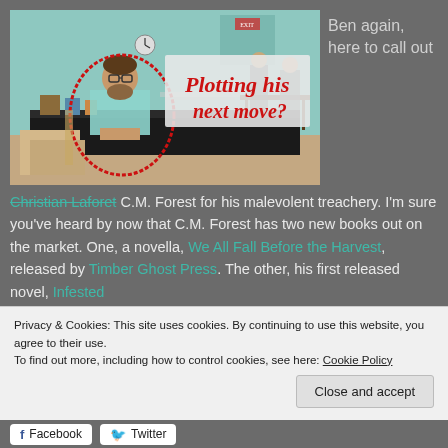[Figure (photo): Photo of a man (Ben/Christian Laforet/C.M. Forest) sitting at a table at what appears to be a book fair or event in a room with teal/green walls. He is wearing glasses and a light blue shirt, looking down at materials on the table. There is a red hand-drawn circle around him and red cursive text overlay reading 'Plotting his next move?' on a semi-transparent background.]
Ben again, here to call out
Christian Laforet C.M. Forest for his malevolent treachery. I'm sure you've heard by now that C.M. Forest has two new books out on the market. One, a novella, We All Fall Before the Harvest, released by Timber Ghost Press. The other, his first released novel, Infested
Privacy & Cookies: This site uses cookies. By continuing to use this website, you agree to their use.
To find out more, including how to control cookies, see here: Cookie Policy
Close and accept
Facebook
Twitter